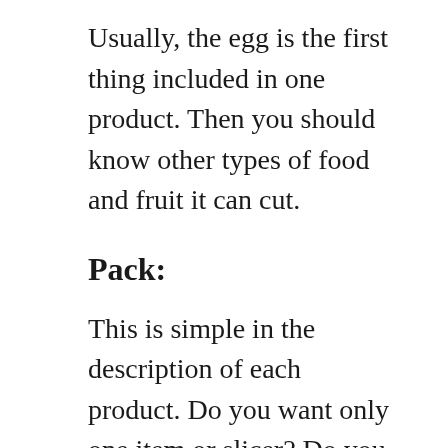Usually, the egg is the first thing included in one product. Then you should know other types of food and fruit it can cut.
Pack:
This is simple in the description of each product. Do you want only one item or slicer? Do you want one item with two or more slicers? You should answer these questions before making a decision. We can give you one idea. If you intend to get it for home use, one pack with one slicer is sufficient to complete small family eating time with small toppings. However, if you need for a restaurant, it is better to have one pack with two or more slicer because you